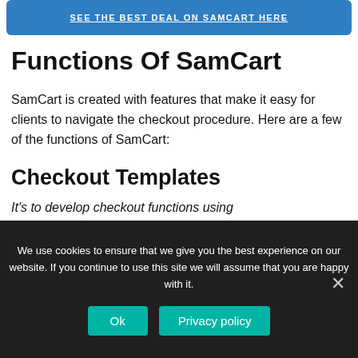[Figure (other): Blue banner button with text 'SEE THE BEST DEAL ON SAMCART HERE']
Functions Of SamCart
SamCart is created with features that make it easy for clients to navigate the checkout procedure. Here are a few of the functions of SamCart:
Checkout Templates
It's to develop checkout functions using
We use cookies to ensure that we give you the best experience on our website. If you continue to use this site we will assume that you are happy with it.